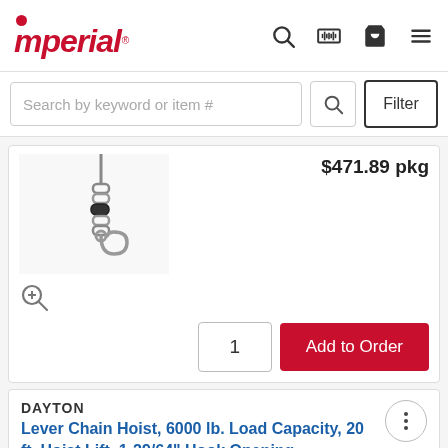[Figure (logo): Imperial logo with red dot and italic text]
Search by keyword or item #
$471.89 pkg
[Figure (photo): Chain hoist product image (partial)]
1
Add to Order
DAYTON
Lever Chain Hoist, 6000 lb. Load Capacity, 20 ft. Hoist Lift, 1-29/64" Hook Opening
#911388-7 | Pkg Qty:1
[Figure (photo): Chain hoist hook image (partial, bottom of page)]